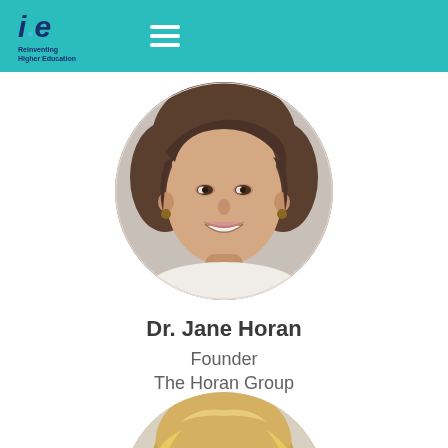ie Reinventing Higher Education
[Figure (photo): Circular profile photo of Dr. Jane Horan, a woman with short brown hair, smiling, wearing earrings and a white top]
Dr. Jane Horan
Founder
The Horan Group
[Figure (photo): Circular profile photo of a second person, partially visible at the bottom, showing blonde hair]